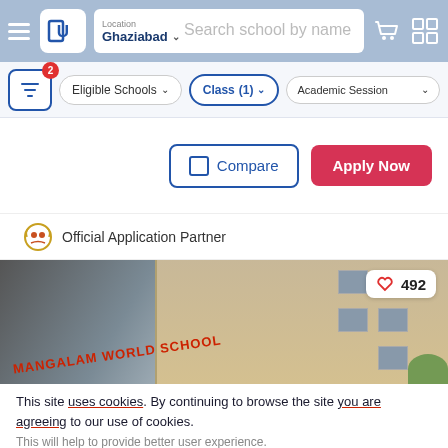Location: Ghaziabad | Search school by name
Eligible Schools | Class (1) | Academic Session
Compare | Apply Now
Official Application Partner
[Figure (photo): Photo of Mangalam World School building exterior with school signage, like count 492]
This site uses cookies. By continuing to browse the site you are agreeing to our use of cookies.
This will help to provide better user experience.
Ok, I Understand